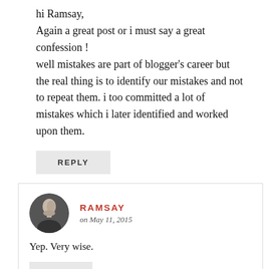hi Ramsay,
Again a great post or i must say a great confession !
well mistakes are part of blogger's career but the real thing is to identify our mistakes and not to repeat them. i too committed a lot of mistakes which i later identified and worked upon them.
REPLY
RAMSAY
on May 11, 2015
Yep. Very wise.
REPLY